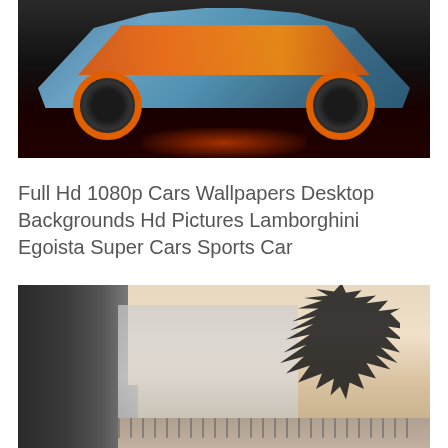[Figure (photo): A futuristic sports car (Lamborghini Egoista) with blue-grey and orange color scheme, orange wheels, photographed from the side on a dark background with orange glow underneath]
Full Hd 1080p Cars Wallpapers Desktop Backgrounds Hd Pictures Lamborghini Egoista Super Cars Sports Car
[Figure (photo): A sepia-toned architectural scene showing a building on the left, a foggy sky in the center, bare tree branches on the right, and a railing/fence in the lower right]